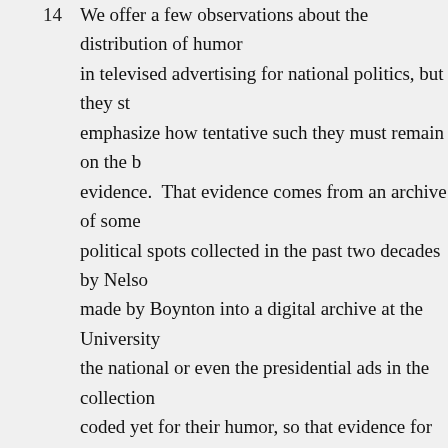14  We offer a few observations about the distribution of humor in televised advertising for national politics, but they still emphasize how tentative such they must remain on the basis of this evidence. That evidence comes from an archive of some political spots collected in the past two decades by Nelson, made by Boynton into a digital archive at the University. Not the national or even the presidential ads in the collection are coded yet for their humor, so that evidence for the claim does not encompass most of the 2000 campaigns. This is another reason the patterns discussed in these pages remain preliminary.
From Warmth to Hostility
15  The first pattern to emerge is that humorous appeals have been a relatively modest part of campaign spots. Thirty- and sixty-second commercials on television rely overwhelmingly on hum...